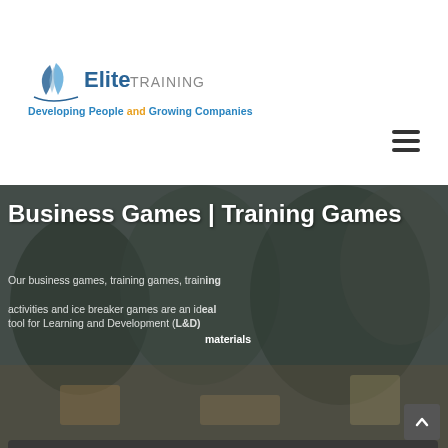[Figure (logo): Elite Training logo with leaf/wing icon, text 'Elite TRAINING' in blue and gray]
Developing People and Growing Companies
[Figure (other): Hamburger menu icon (three horizontal lines)]
[Figure (photo): Background photo of people collaborating around a table in a training/business setting]
Business Games | Training Games
Our business games, training games, training activities and ice breaker games are an ideal tool for Learning and Development (L&D) materials
This website uses cookies to ensure you get the best experience on our website.
Cookie policy · Privacy policy
Decline
Allow cookies